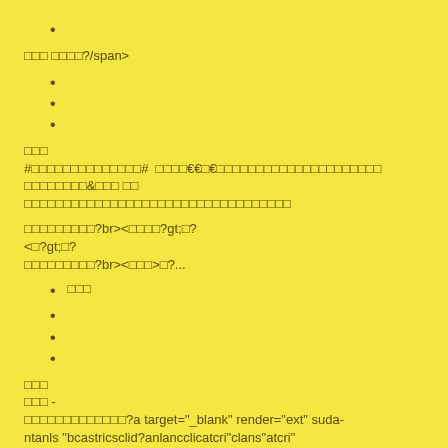•
□□□ □□□□?/span>
•
•
•
□□□
#□□□□□□□□□□□□□□#  □□□□€€□€□□□□□□□□□□□□□□□□□□□□□ □□□□□□□□&□□□ □□
□□□□□□□□□□□□□□□□□□□□□□□□□□□□□□□□□□
□□□□□□□□□?br><□□□□?gt;□?
<□?gt;□?
□□□□□□□□□?br><□□□>□?...
• □□□
•
•
•
□□□
□□□ -
□□□□□□□□□□□□□?a target="_blank" render="ext" suda-
ntanls "bcastricsclid?anlancclicatcri"clans"atcri"